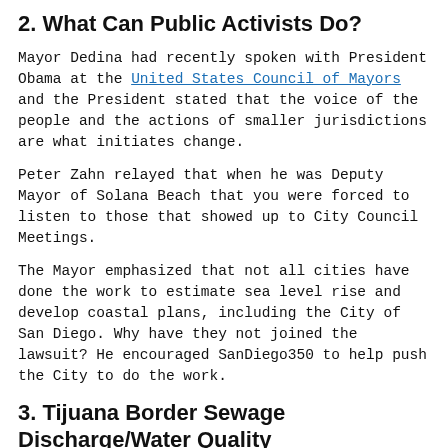2. What Can Public Activists Do?
Mayor Dedina had recently spoken with President Obama at the United States Council of Mayors and the President stated that the voice of the people and the actions of smaller jurisdictions are what initiates change.
Peter Zahn relayed that when he was Deputy Mayor of Solana Beach that you were forced to listen to those that showed up to City Council Meetings.
The Mayor emphasized that not all cities have done the work to estimate sea level rise and develop coastal plans, including the City of San Diego. Why have they not joined the lawsuit? He encouraged SanDiego350 to help push the City to do the work.
3. Tijuana Border Sewage Discharge/Water Quality
The Mayor shared that the Trump administration included no budgeted funds to address the biggest violation of the Clean Water Act ever. Border patrol agents have been sickened and the environment degraded, but no one in the US administration cares.